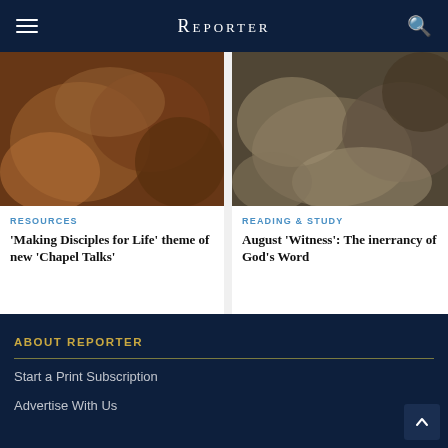Reporter
[Figure (photo): Blurred photo of people in a group setting, possibly reading or studying]
[Figure (photo): Blurred close-up photo of hands writing or reading documents on a desk]
RESOURCES
'Making Disciples for Life' theme of new 'Chapel Talks'
READING & STUDY
August 'Witness': The inerrancy of God's Word
ABOUT REPORTER
Start a Print Subscription
Advertise With Us